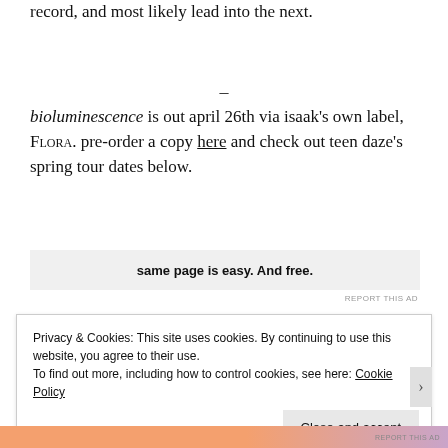record, and most likely lead into the next.
–
bioluminescence is out april 26th via isaak's own label, FLORA. pre-order a copy here and check out teen daze's spring tour dates below.
[Figure (other): Advertisement banner showing partial text 'same page is easy. And free.']
REPORT THIS AD
Privacy & Cookies: This site uses cookies. By continuing to use this website, you agree to their use.
To find out more, including how to control cookies, see here: Cookie Policy
Close and accept